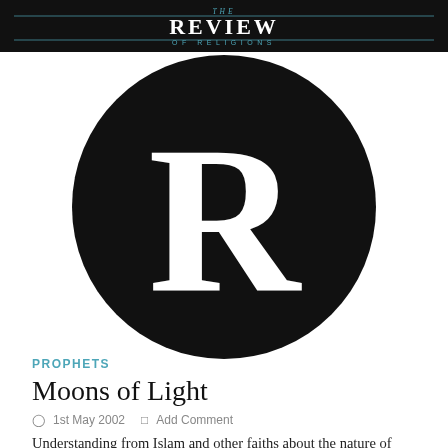THE REVIEW OF RELIGIONS
[Figure (logo): Large circular black logo with white letter R in serif font, representing The Review of Religions publication logo]
PROPHETS
Moons of Light
1st May 2002   Add Comment
Understanding from Islam and other faiths about the nature of Divine Light which is conveyed through the prophets